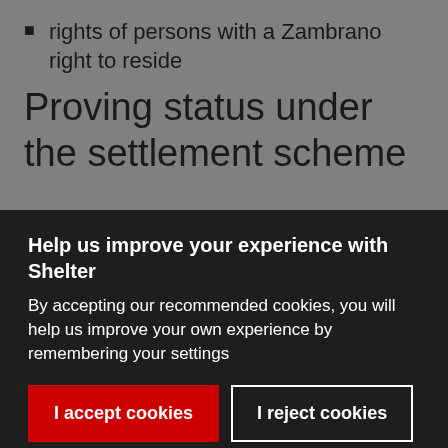rights of persons with a Zambrano right to reside
Proving status under the settlement scheme
Help us improve your experience with Shelter
By accepting our recommended cookies, you will help us improve your own experience by remembering your settings
I accept cookies
I reject cookies
Cookie settings